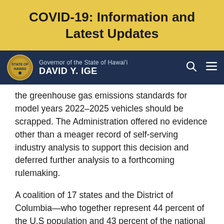COVID-19: Information and Latest Updates
Governor of the State of Hawai'i DAVID Y. IGE
the greenhouse gas emissions standards for model years 2022–2025 vehicles should be scrapped. The Administration offered no evidence other than a meager record of self-serving industry analysis to support this decision and deferred further analysis to a forthcoming rulemaking.
A coalition of 17 states and the District of Columbia—who together represent 44 percent of the U.S population and 43 percent of the national new car sales market—sued the agency last month over its decision to withdraw the agency's evaluation supporting the standards. The lawsuit is based on